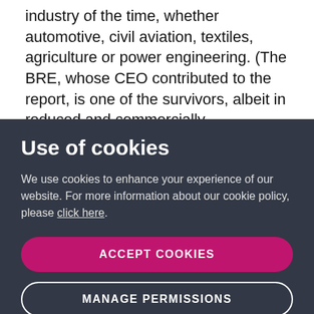industry of the time, whether automotive, civil aviation, textiles, agriculture or power engineering. (The BRE, whose CEO contributed to the report, is one of the survivors, albeit in reduced and commercially independent form.) There is a sort of
Use of cookies
We use cookies to enhance your experience of our website. For more information about our cookie policy, please click here.
ACCEPT COOKIES
MANAGE PERMISSIONS